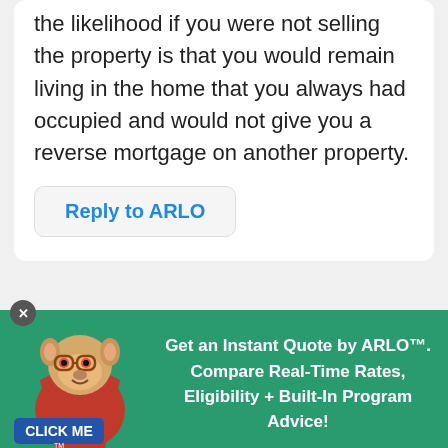the likelihood if you were not selling the property is that you would remain living in the home that you always had occupied and would not give you a reverse mortgage on another property.
Reply to ARLO
Fouskey
May 1st, 2013
Can a person who has a reverse mortgage
[Figure (illustration): ARLO mascot dog with red cape and glasses, with CLICK ME banner, on green promotional banner reading: Get an Instant Quote by ARLO™. Compare Real-Time Rates, Eligibility + Built-In Program Advice!]